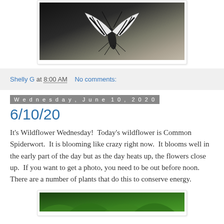[Figure (photo): Close-up photo of a striped moth or butterfly with black and white wing patterns, resting on a textured surface]
Shelly G at 8:00 AM   No comments:
Wednesday, June 10, 2020
6/10/20
It's Wildflower Wednesday!  Today's wildflower is Common Spiderwort.  It is blooming like crazy right now.  It blooms well in the early part of the day but as the day heats up, the flowers close up.  If you want to get a photo, you need to be out before noon.  There are a number of plants that do this to conserve energy.
[Figure (photo): Bottom portion of a photo showing green plant foliage]